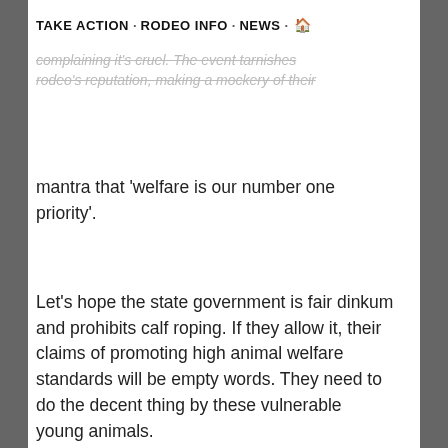TAKE ACTION · RODEO INFO · NEWS · 🏠
complaining it's cruel. The event tarnishes rodeo's reputation, making a mockery of their mantra that 'welfare is our number one priority'.
Let's hope the state government is fair dinkum and prohibits calf roping. If they allow it, their claims of promoting high animal welfare standards will be empty words. They need to do the decent thing by these vulnerable young animals.
[Figure (photo): A horizontal photo strip showing outdoor/nature scene with trees and structures, appearing as a gallery of images side by side.]